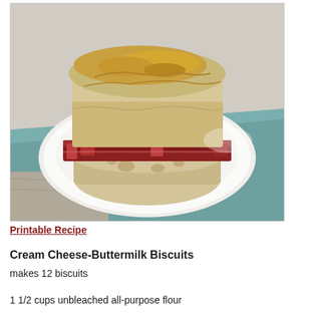[Figure (photo): A biscuit sandwich with bacon/cured meat on a white plate placed on a teal/blue-gray cloth napkin on a wooden surface]
Printable Recipe
Cream Cheese-Buttermilk Biscuits
makes 12 biscuits
1 1/2 cups unbleached all-purpose flour